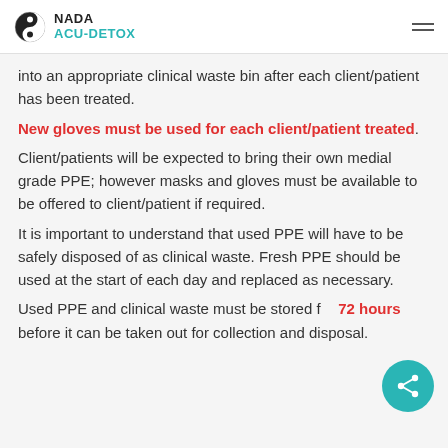NADA ACU-DETOX
into an appropriate clinical waste bin after each client/patient has been treated. New gloves must be used for each client/patient treated. Client/patients will be expected to bring their own medial grade PPE; however masks and gloves must be available to be offered to client/patient if required. It is important to understand that used PPE will have to be safely disposed of as clinical waste. Fresh PPE should be used at the start of each day and replaced as necessary. Used PPE and clinical waste must be stored for 72 hours before it can be taken out for collection and disposal.